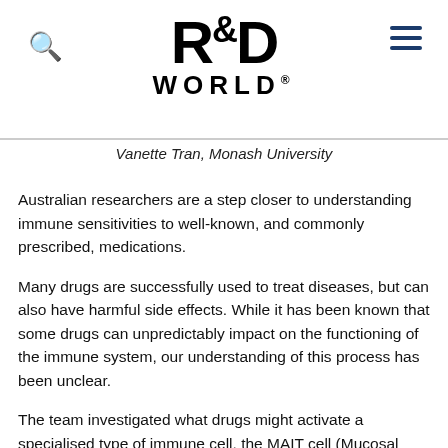R&D WORLD
Vanette Tran, Monash University
Australian researchers are a step closer to understanding immune sensitivities to well-known, and commonly prescribed, medications.
Many drugs are successfully used to treat diseases, but can also have harmful side effects. While it has been known that some drugs can unpredictably impact on the functioning of the immune system, our understanding of this process has been unclear.
The team investigated what drugs might activate a specialised type of immune cell, the MAIT cell (Mucosal associated invariant T cell). They found that some drugs prevented the MAIT cells from detecting infections (their main role in our immune system), while other drugs activated the immune system, which may be undesirable.